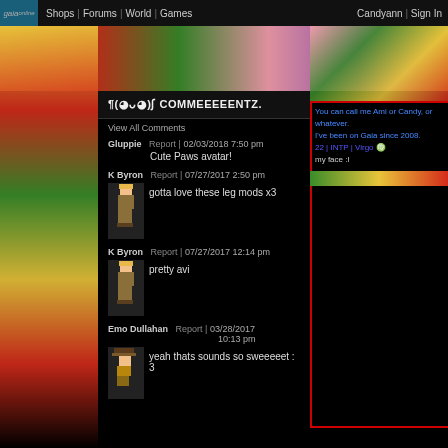gaia | Shops | Forums | World | Games | Candyann | Sign In
¶(◕ᴗ◕)ʃ COMMEEEEENTZ.
View All Comments
Gluppie   Report | 02/03/2018 7:50 pm
Cute Paws avatar!
K Byron   Report | 07/27/2017 2:50 pm
gotta love these leg mods x3
K Byron   Report | 07/27/2017 12:14 pm
pretty avi
Emo Dullahan   Report | 03/28/2017 10:13 pm
yeah thats sounds so sweeeeet : 3
You can call me Ami or Candy, or whatever. I've been on Gaia since 2008. 22 | INTP | Virgo ♍
my face :I